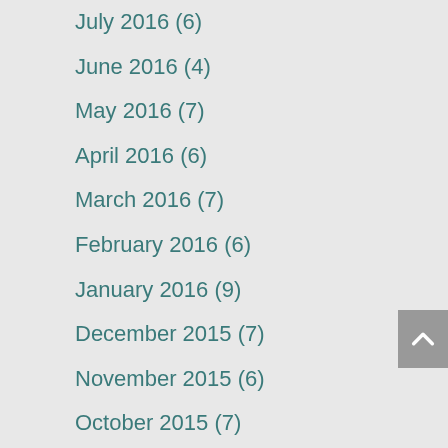July 2016 (6)
June 2016 (4)
May 2016 (7)
April 2016 (6)
March 2016 (7)
February 2016 (6)
January 2016 (9)
December 2015 (7)
November 2015 (6)
October 2015 (7)
September 2015 (8)
August 2015 (7)
July 2015 (6)
June 2015 (6)
May 2015 (7)